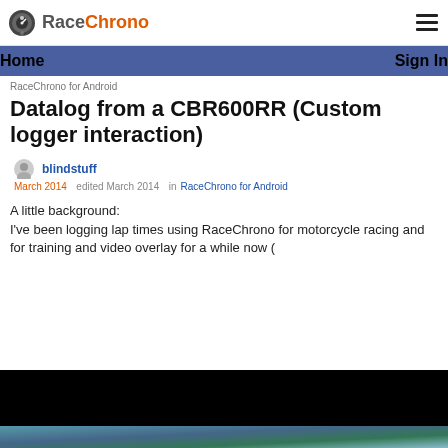RaceChrono
Home | Sign In
RaceChrono for Android
Datalog from a CBR600RR (Custom logger interaction)
blindstuff
March 2014   edited March 2014   in RaceChrono for Android
A little background:
I've been logging lap times using RaceChrono for motorcycle racing and for training and video overlay for a while now (
[Figure (screenshot): Black video frame at bottom of page with partial motorcycle race image thumbnail below]